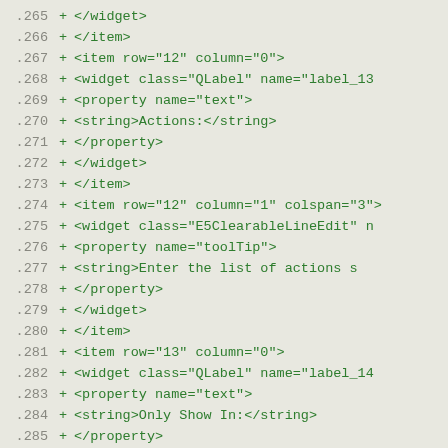Code diff showing XML widget definitions, lines 265-285
.265 +         </widget>
.266 +         </item>
.267 +         <item row="12" column="0">
.268 +          <widget class="QLabel" name="label_13
.269 +           <property name="text">
.270 +            <string>Actions:</string>
.271 +           </property>
.272 +          </widget>
.273 +         </item>
.274 +         <item row="12" column="1" colspan="3">
.275 +          <widget class="E5ClearableLineEdit" n
.276 +           <property name="toolTip">
.277 +            <string>Enter the list of actions s
.278 +           </property>
.279 +          </widget>
.280 +         </item>
.281 +         <item row="13" column="0">
.282 +          <widget class="QLabel" name="label_14
.283 +           <property name="text">
.284 +            <string>Only Show In:</string>
.285 +          </property>